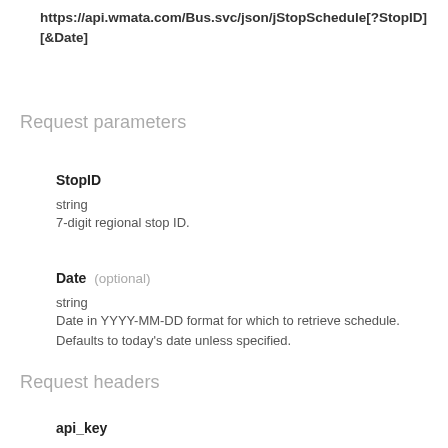https://api.wmata.com/Bus.svc/json/jStopSchedule[?StopID][&Date]
Request parameters
StopID
string
7-digit regional stop ID.
Date (optional)
string
Date in YYYY-MM-DD format for which to retrieve schedule. Defaults to today's date unless specified.
Request headers
api_key